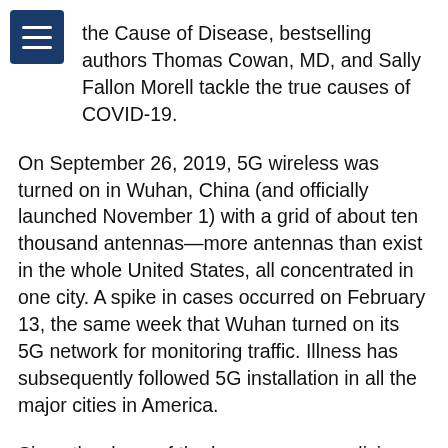the Cause of Disease, bestselling authors Thomas Cowan, MD, and Sally Fallon Morell tackle the true causes of COVID-19.
On September 26, 2019, 5G wireless was turned on in Wuhan, China (and officially launched November 1) with a grid of about ten thousand antennas—more antennas than exist in the whole United States, all concentrated in one city. A spike in cases occurred on February 13, the same week that Wuhan turned on its 5G network for monitoring traffic. Illness has subsequently followed 5G installation in all the major cities in America.
Since the dawn of the human race, medicine men and physicians have wondered about the cause of disease, especially what we call “contagions,” numerous people ill with similar symptoms, all at the same time. Does humankind suffer these outbreaks at the hands of an angry god or evil